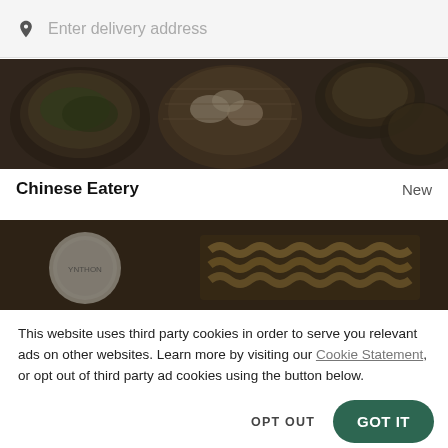[Figure (screenshot): Search bar with pin/location icon and placeholder text 'Enter delivery address' on a light grey background]
[Figure (photo): Darkened photo of Chinese food dishes including dim sum and noodles in bowls]
Chinese Eatery
New
[Figure (photo): Darkened photo of food items including chips/crisps and a round logo on the left]
This website uses third party cookies in order to serve you relevant ads on other websites. Learn more by visiting our Cookie Statement, or opt out of third party ad cookies using the button below.
OPT OUT
GOT IT